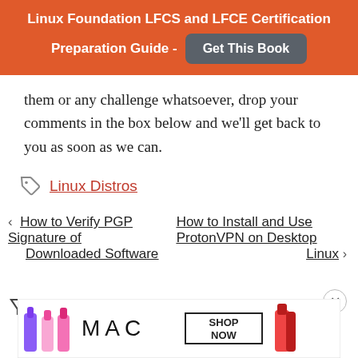Linux Foundation LFCS and LFCE Certification Preparation Guide - Get This Book
them or any challenge whatsoever, drop your comments in the box below and we'll get back to you as soon as we can.
Linux Distros
< How to Verify PGP Signature of Downloaded Software
How to Install and Use ProtonVPN on Desktop Linux >
[Figure (illustration): Advertisement banner showing MAC cosmetics lipsticks with SHOP NOW button]